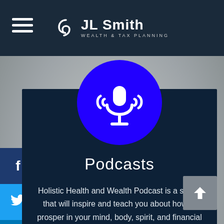JL Smith WEALTH & TAX PLANNING
[Figure (logo): JL Smith Wealth & Tax Planning logo with circular icon and text]
[Figure (illustration): Blue circle with white podcast microphone/signal icon]
Podcasts
Holistic Health and Wealth Podcast is a series that will inspire and teach you about how to prosper in your mind, body, spirit, and financial life.